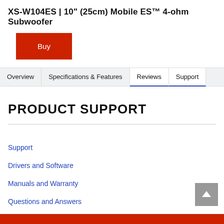XS-W104ES | 10" (25cm) Mobile ES™ 4-ohm Subwoofer
Buy
Overview | Specifications & Features | Reviews | Support
PRODUCT SUPPORT
Support
Drivers and Software
Manuals and Warranty
Questions and Answers
Support by Sony